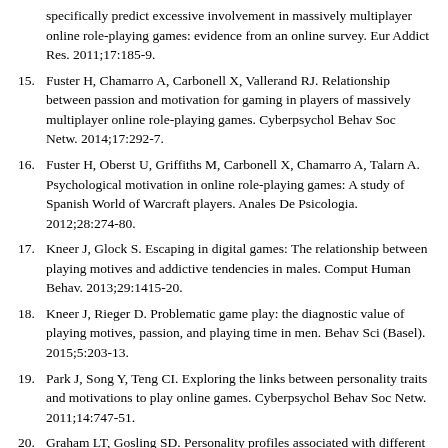specifically predict excessive involvement in massively multiplayer online role-playing games: evidence from an online survey. Eur Addict Res. 2011;17:185-9.
15. Fuster H, Chamarro A, Carbonell X, Vallerand RJ. Relationship between passion and motivation for gaming in players of massively multiplayer online role-playing games. Cyberpsychol Behav Soc Netw. 2014;17:292-7.
16. Fuster H, Oberst U, Griffiths M, Carbonell X, Chamarro A, Talarn A. Psychological motivation in online role-playing games: A study of Spanish World of Warcraft players. Anales De Psicologia. 2012;28:274-80.
17. Kneer J, Glock S. Escaping in digital games: The relationship between playing motives and addictive tendencies in males. Comput Human Behav. 2013;29:1415-20.
18. Kneer J, Rieger D. Problematic game play: the diagnostic value of playing motives, passion, and playing time in men. Behav Sci (Basel). 2015;5:203-13.
19. Park J, Song Y, Teng CI. Exploring the links between personality traits and motivations to play online games. Cyberpsychol Behav Soc Netw. 2011;14:747-51.
20. Graham LT, Gosling SD. Personality profiles associated with different motivations for playing World of Warcraft. Cyberpsychol Behav Soc Netw. 2013;16:189-93.
21. Kuss DJ, Griffiths MD. Internet and gaming addiction: a